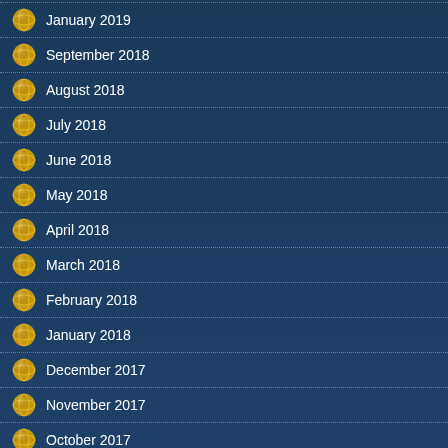January 2019
September 2018
August 2018
July 2018
June 2018
May 2018
April 2018
March 2018
February 2018
January 2018
December 2017
November 2017
October 2017
September 2017